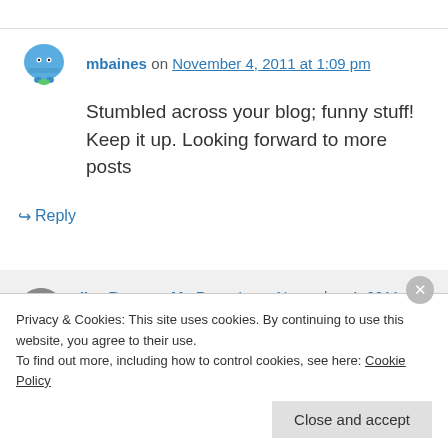mbaines on November 4, 2011 at 1:09 pm
Stumbled across your blog; funny stuff! Keep it up. Looking forward to more posts
↪ Reply
I've Become My Parents on November 4, 2011 at 2:39 pm
Thanks. Glad you found it. See you again
Privacy & Cookies: This site uses cookies. By continuing to use this website, you agree to their use.
To find out more, including how to control cookies, see here: Cookie Policy
Close and accept